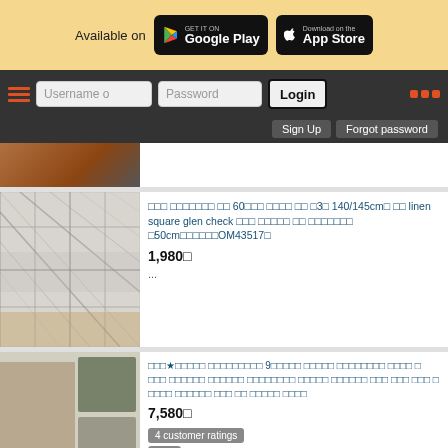[Figure (screenshot): App store banner showing Google Play and App Store download buttons on yellow background]
[Figure (screenshot): Navigation bar with hamburger menu, Username and Password inputs, Login button, and orange dots]
[Figure (screenshot): Sign Up and Forgot password buttons on dark background]
[Figure (photo): Partial product image showing shoes on brown/orange background]
[Figure (photo): Glen check linen fabric folded, grey plaid textile]
□□□ □□□□□□□ □□ 60□□□ □□□□ □□ □3□ 140/145cm□ □□ linen square glen check □□□ □□□□□ □□ □□□□□□□ □50cm□□□□□□OM43517□
1,980□
...
[Figure (photo): Women's pantsuit product image with model wearing grey check suit and supplementary garment images]
□□□★□□□□□ □□□□□□□□□ 9□□□□□ □□□□□ □□□□□□□□ □□□□ □ □□□ □□□□□□ □□□□□□ □□□□□□□□ □□□□□ □□□□□□ □□□ □□□ □□□ □ □□□□ □□□□□□ □□□ □□ □□□□□ □□□□
7,580□
4 customer ratings
3.75 ★★★★
□□□□□□□□□□□□□ □□□□□ 2□□□□□□□□□□ □□□□□□ □□□□□ □□□□□ □□ □□□□□□□□□□□□□□□□□□□□□□□ □□□□□□□ □□□□□□□□□...
□50cm□□□□4m□□□□□□ □□□□ □□□□ □□□□ □□□□